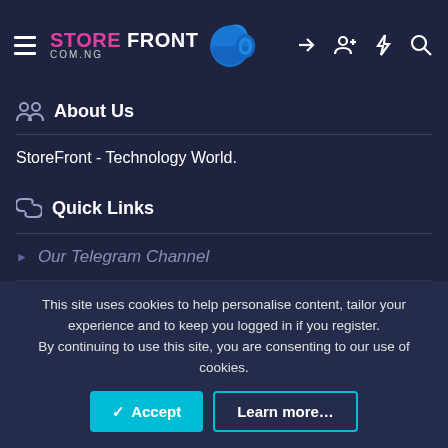STOREFRONT COM.NG — navigation bar with hamburger, logo, and icons
About Us
StoreFront - Technology World.
Quick Links
Our Telegram Channel
DMCA
Twitter
Donate to Us
This site uses cookies to help personalise content, tailor your experience and to keep you logged in if you register. By continuing to use this site, you are consenting to our use of cookies.